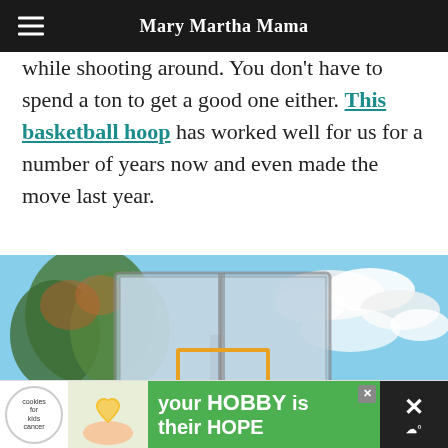Mary Martha Mama
while shooting around. You don't have to spend a ton to get a good one either. This basketball hoop has worked well for us for a number of years now and even made the move last year.
[Figure (photo): A Spalding basketball hoop with a clear backboard photographed from below against a blue sky with clouds and trees in the background. Interactive buttons on the right side include a teal heart button, a number 1 counter button, and a teal share button.]
[Figure (infographic): Advertisement banner: cookies for kids' cancer logo, green background with text 'your HOBBY is their HOPE']